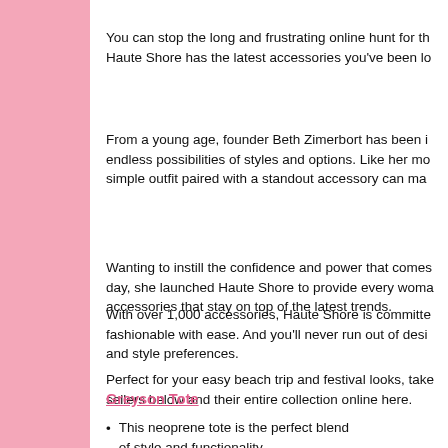You can stop the long and frustrating online hunt for th... Haute Shore has the latest accessories you've been lo...
From a young age, founder Beth Zimerbort has been i... endless possibilities of styles and options. Like her mo... simple outfit paired with a standout accessory can ma...
Wanting to instill the confidence and power that comes... day, she launched Haute Shore to provide every woma... accessories that stay on top of the latest trends.
With over 1,000 accessories, Haute Shore is committe... fashionable with ease. And you'll never run out of desi... and style preferences.
Perfect for your easy beach trip and festival looks, take... sellers below and their entire collection online here.
Greyson Tote
This neoprene tote is the perfect blend of style and functionality